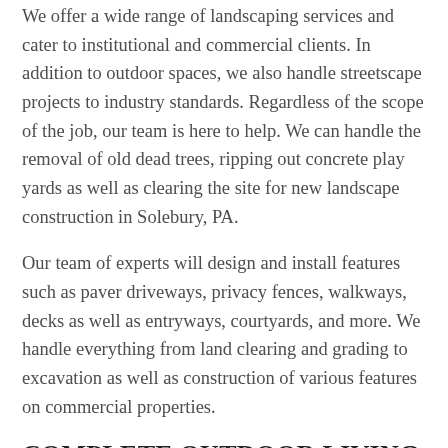We offer a wide range of landscaping services and cater to institutional and commercial clients. In addition to outdoor spaces, we also handle streetscape projects to industry standards. Regardless of the scope of the job, our team is here to help. We can handle the removal of old dead trees, ripping out concrete play yards as well as clearing the site for new landscape construction in Solebury, PA.
Our team of experts will design and install features such as paver driveways, privacy fences, walkways, decks as well as entryways, courtyards, and more. We handle everything from land clearing and grading to excavation as well as construction of various features on commercial properties.
COMPLETE OUTDOOR LIVING SERVICES
As well as hardscaping and softscaping, many other features improve the appearance and functionality of the outdoor spaces on residential or commercial properties. Since every homeowner or commercial business owner will have specific requirements